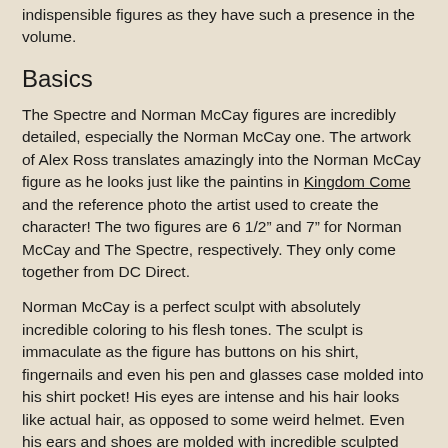indispensible figures as they have such a presence in the volume.
Basics
The Spectre and Norman McCay figures are incredibly detailed, especially the Norman McCay one. The artwork of Alex Ross translates amazingly into the Norman McCay figure as he looks just like the paintins in Kingdom Come and the reference photo the artist used to create the character! The two figures are 6 1/2" and 7" for Norman McCay and The Spectre, respectively. They only come together from DC Direct.
Norman McCay is a perfect sculpt with absolutely incredible coloring to his flesh tones. The sculpt is immaculate as the figure has buttons on his shirt, fingernails and even his pen and glasses case molded into his shirt pocket! His eyes are intense and his hair looks like actual hair, as opposed to some weird helmet. Even his ears and shoes are molded with incredible sculpted details. The coloring is also incredible. Usually, I rail against problems with getting flesh